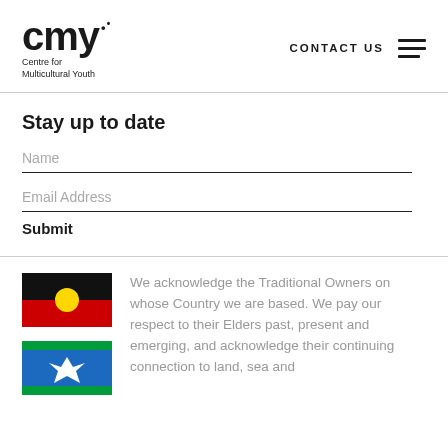cmy Centre for Multicultural Youth — CONTACT US
Stay up to date
Name
Email Address
Submit
[Figure (illustration): Aboriginal flag: black top half, red bottom half, yellow circle in centre]
[Figure (illustration): Torres Strait Islander flag: green top and bottom stripes, blue centre with white dhari (headdress) symbol and white star]
We acknowledge the Traditional Owners on whose Country we are based. We pay our respect to their Elders past, present and emerging, and acknowledge their continuing connection to land, sea and